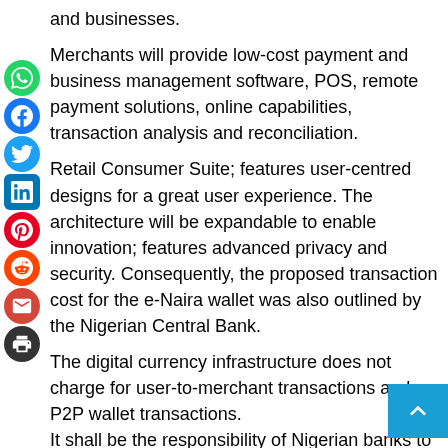and businesses.
Merchants will provide low-cost payment and business management software, POS, remote payment solutions, online capabilities, transaction analysis and reconciliation.
Retail Consumer Suite; features user-centred designs for a great user experience. The architecture will be expandable to enable innovation; features advanced privacy and security. Consequently, the proposed transaction cost for the e-Naira wallet was also outlined by the Nigerian Central Bank.
The digital currency infrastructure does not charge for user-to-merchant transactions and P2P wallet transactions. It shall be the responsibility of Nigerian banks to promote and market the centrally issued digital currency as a cash alternative to existing and potential customers in support of the